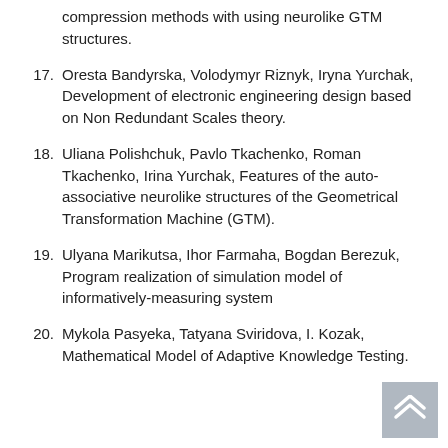compression methods with using neurolike GTM structures.
17. Oresta Bandyrska, Volodymyr Riznyk, Iryna Yurchak, Development of electronic engineering design based on Non Redundant Scales theory.
18. Uliana Polishchuk, Pavlo Tkachenko, Roman Tkachenko, Irina Yurchak, Features of the auto-associative neurolike structures of the Geometrical Transformation Machine (GTM).
19. Ulyana Marikutsa, Ihor Farmaha, Bogdan Berezuk, Program realization of simulation model of informatively-measuring system
20. Mykola Pasyeka, Tatyana Sviridova, I. Kozak, Mathematical Model of Adaptive Knowledge Testing.
[Figure (other): Scroll-to-top button with double chevron icon, gray background]